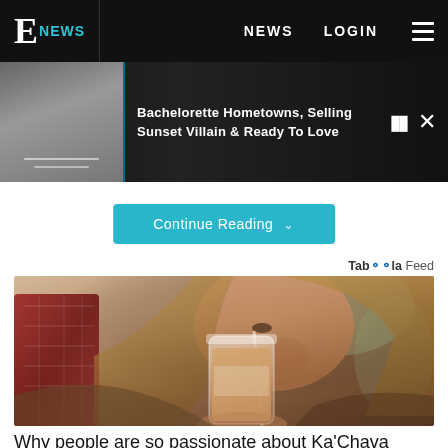E NEWS  NEWS  LOGIN
Bachelorette Hometowns, Selling Sunset Villain & Ready To Love
Continue Reading
Tab00la Feed
[Figure (photo): Woman drinking from a mason jar with a straw, natural/outdoor setting with blurred background, long blonde hair]
Why people are so passionate about Ka'Chava